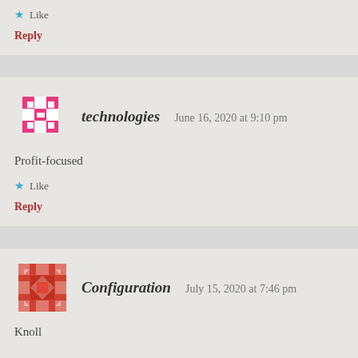Like
Reply
technologies   June 16, 2020 at 9:10 pm
Profit-focused
Like
Reply
Configuration   July 15, 2020 at 7:46 pm
Knoll